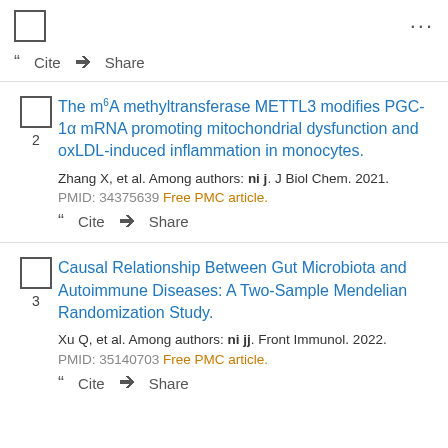... Cite Share
The m6A methyltransferase METTL3 modifies PGC-1α mRNA promoting mitochondrial dysfunction and oxLDL-induced inflammation in monocytes.
Zhang X, et al. Among authors: ni j. J Biol Chem. 2021. PMID: 34375639 Free PMC article.
Cite Share
Causal Relationship Between Gut Microbiota and Autoimmune Diseases: A Two-Sample Mendelian Randomization Study.
Xu Q, et al. Among authors: ni jj. Front Immunol. 2022. PMID: 35140703 Free PMC article.
Cite Share